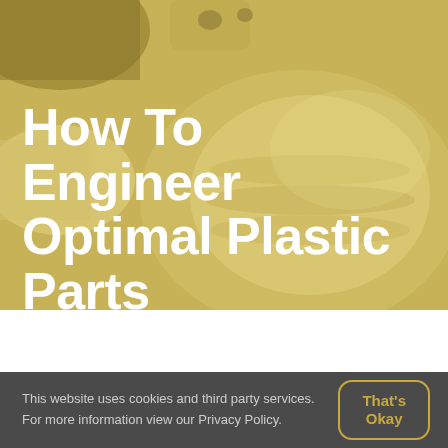[Figure (photo): Background photo of cream/white plastic injection-molded parts with yellow-gold color overlay tint covering the top 310px of the page]
How To Engineer Optimal Plastic Parts
This website uses cookies and third party services. For more information view our Privacy Policy.